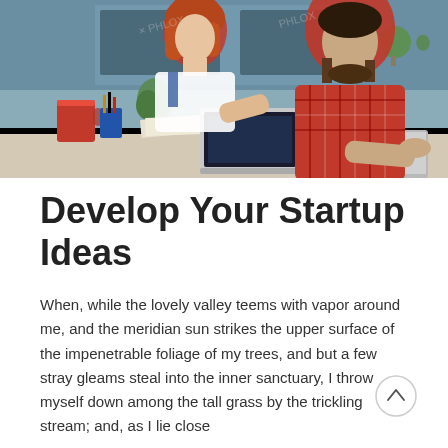[Figure (photo): Two people working on laptops at a shared desk in a modern office or coworking space. One person has red curly hair and wears a white top with denim; the other wears a red plaid flannel shirt and has a beard. A red mug, blue pen holder, and laptop are visible. The background has glass walls and greenery.]
Develop Your Startup Ideas
When, while the lovely valley teems with vapor around me, and the meridian sun strikes the upper surface of the impenetrable foliage of my trees, and but a few stray gleams steal into the inner sanctuary, I throw myself down among the tall grass by the trickling stream; and, as I lie close